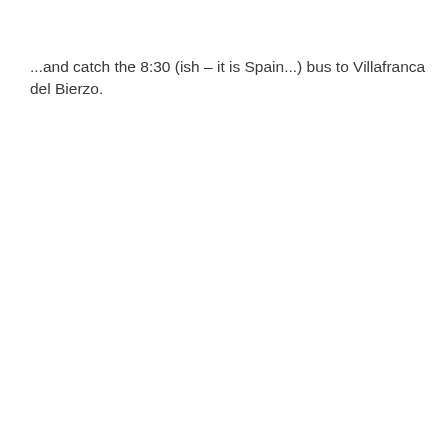...and catch the 8:30 (ish – it is Spain...) bus to Villafranca del Bierzo.